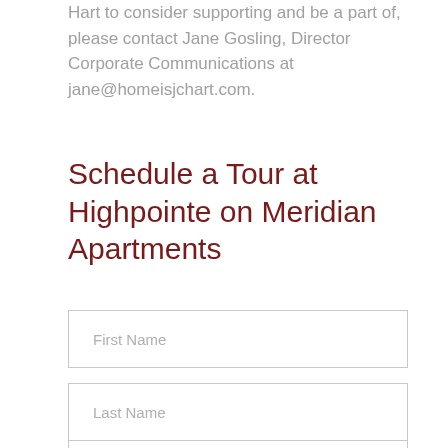Hart to consider supporting and be a part of, please contact Jane Gosling, Director Corporate Communications at jane@homeisjchart.com.
Schedule a Tour at Highpointe on Meridian Apartments
First Name
Last Name